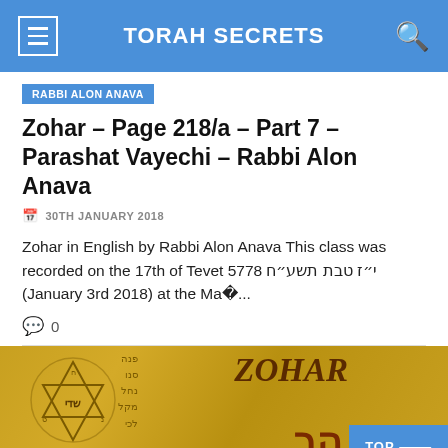TORAH SECRETS
RABBI ALON ANAVA
Zohar – Page 218/a – Part 7 – Parashat Vayechi – Rabbi Alon Anava
30TH JANUARY 2018
Zohar in English by Rabbi Alon Anava This class was recorded on the 17th of Tevet 5778 י"ז טבת תשע"ח (January 3rd 2018) at the Ma�...
0
[Figure (photo): Gold parchment background with Star of David, Hebrew text, and ZOHAR text with a TOP navigation button]